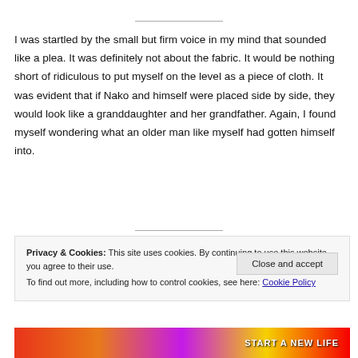I was startled by the small but firm voice in my mind that sounded like a plea. It was definitely not about the fabric. It would be nothing short of ridiculous to put myself on the level as a piece of cloth. It was evident that if Nako and himself were placed side by side, they would look like a granddaughter and her grandfather. Again, I found myself wondering what an older man like myself had gotten himself into.
Privacy & Cookies: This site uses cookies. By continuing to use this website, you agree to their use. To find out more, including how to control cookies, see here: Cookie Policy
[Figure (other): Advertisement bar with colorful gradient background and text 'START A NEW LIFE']